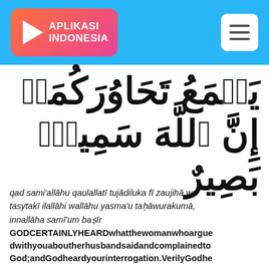[Figure (logo): Aplikasi Indonesia logo with play button triangle on orange-pink gradient background, with hamburger menu icon on right, all on blue header bar]
Arabic Quran text: يَسۡمَعُ تَحَاوُرَكُمَآ ۚ إِنَّ ٱللَّهَ سَمِيعٌ بَصِيرٌ
qad sami'allāhu qaulallatī tujādiluka fī zaujihā wa tasytakī ilallāhi wallāhu yasma'u taḥāwurakumā, innallāha samī'um baṣīr
GODCERTAINLYHEARDwhatthewomanwhoarguedwithyouaboutherhusbandsaidandcomplainedtoGod;andGodheardyourinterrogation.VerilyGodhe